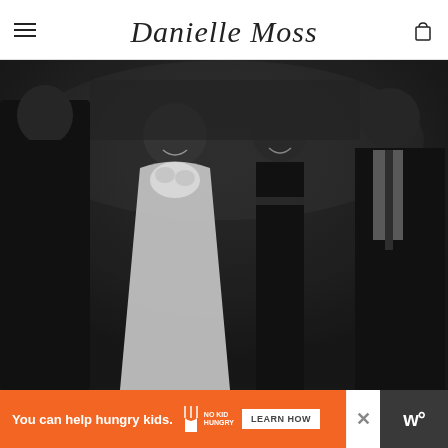Danielle Moss
[Figure (photo): Black and white photo of four people at a formal event. A woman in a white floral gown and a woman in a black crop top outfit stand in the center, flanked by two men in dark suits.]
[Figure (infographic): Orange advertisement banner: 'You can help hungry kids.' with No Kid Hungry fork logo and 'LEARN HOW' button. Close X button on right.]